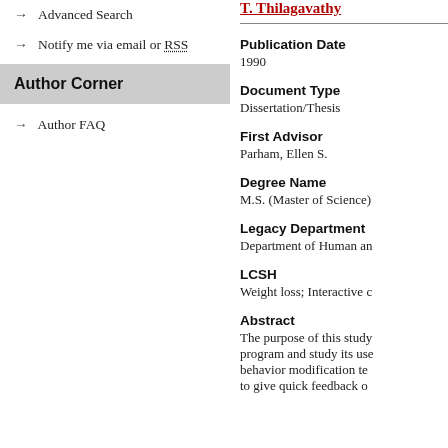→ Advanced Search
→ Notify me via email or RSS
Author Corner
→ Author FAQ
T. Thilagavathy
Publication Date
1990
Document Type
Dissertation/Thesis
First Advisor
Parham, Ellen S.
Degree Name
M.S. (Master of Science)
Legacy Department
Department of Human an
LCSH
Weight loss; Interactive c
Abstract
The purpose of this study program and study its use behavior modification te to give quick feedback o